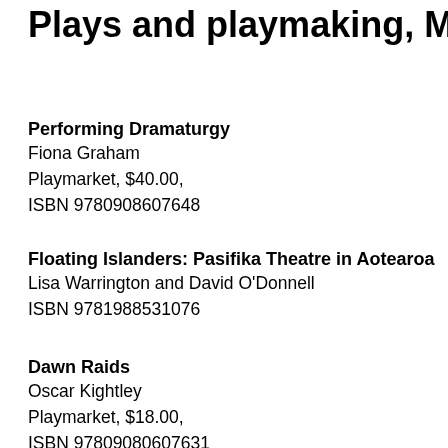Plays and playmaking, Mark Ho
Performing Dramaturgy
Fiona Graham
Playmarket, $40.00,
ISBN 9780908607648
Floating Islanders: Pasifika Theatre in Aotearoa
Lisa Warrington and David O'Donnell
ISBN 9781988531076
Dawn Raids
Oscar Kightley
Playmarket, $18.00,
ISBN 97809080607631
“What is a dramaturg?” I overheard that question earlier this year wh... a show to begin. As it happened, this was a show which listed me in... and the couple asking the question were reading my notes. So I quic... advisor”, and left them to get on with their pre-show reading. A few m... Fiona Graham’s Performing Dramaturgy, which offers a much riche...